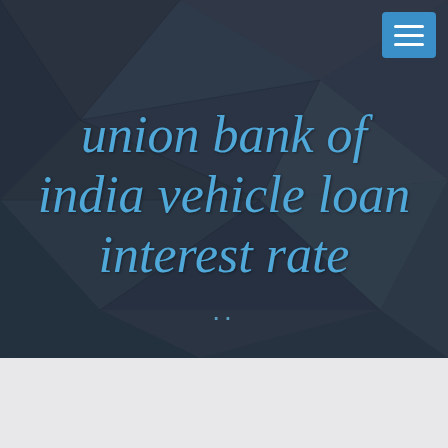[Figure (illustration): Dark navy polygon geometric background with triangular facets in shades of dark grey and charcoal]
union bank of india vehicle loan interest rate
..
Axis bank credit card statement pdf password format